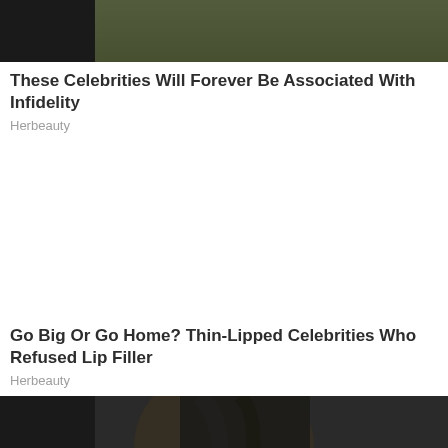[Figure (photo): Partial crop of two people outdoors in a grassy area, dark clothing]
These Celebrities Will Forever Be Associated With Infidelity
Herbeauty
Go Big Or Go Home? Thin-Lipped Celebrities Who Refused Lip Filler
Herbeauty
[Figure (photo): Woman with dark hair in black outfit, wind-blown hair, partial crop at bottom of page]